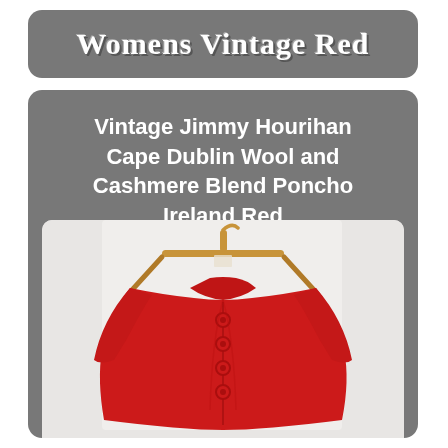Womens Vintage Red
Vintage Jimmy Hourihan Cape Dublin Wool and Cashmere Blend Poncho Ireland Red
[Figure (photo): Red wool and cashmere blend poncho/cape by Jimmy Hourihan, hanging on a wooden hanger against a light background. The garment is bright red with round red buttons down the front.]